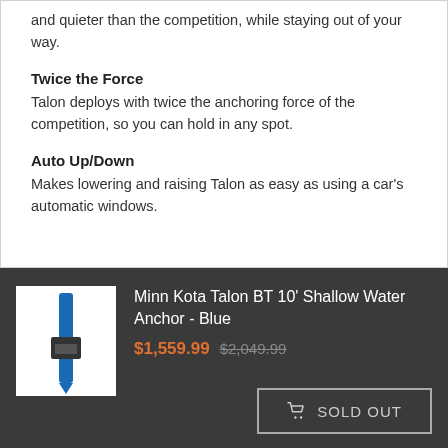and quieter than the competition, while staying out of your way.
Twice the Force
Talon deploys with twice the anchoring force of the competition, so you can hold in any spot.
Auto Up/Down
Makes lowering and raising Talon as easy as using a car's automatic windows.
[Figure (photo): Product photo of Minn Kota Talon BT shallow water anchor in blue, shown vertically against white background]
Minn Kota Talon BT 10' Shallow Water Anchor - Blue
$1,559.99 $2,049.99
SOLD OUT